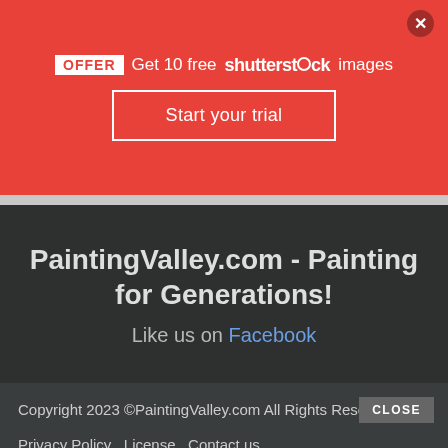OFFER Get 10 free shutterstock images
Start your trial
PaintingValley.com - Painting for Generations!
Like us on Facebook
Copyright 2023 ©PaintingValley.com All Rights Reserved
Privacy Policy  License  Contact us
[Figure (photo): MAC Cosmetics advertisement banner showing lipsticks in purple, pink, and red shades with MAC logo, SHOP NOW button, and red accent panel]